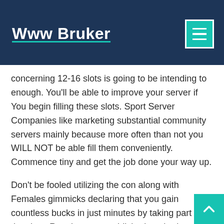Www Bruker
concerning 12-16 slots is going to be intending to enough. You'll be able to improve your server if You begin filling these slots. Sport Server Companies like marketing substantial community servers mainly because more often than not you WILL NOT be able fill them conveniently. Commence tiny and get the job done your way up.
Don't be fooled utilizing the con along with Females gimmicks declaring that you gain countless bucks in just minutes by taking part in the slots. Requires no established method or set of principles which guarantee which could earn if receive a guide or system set. Profitable and luck are usually not for available to purchase.